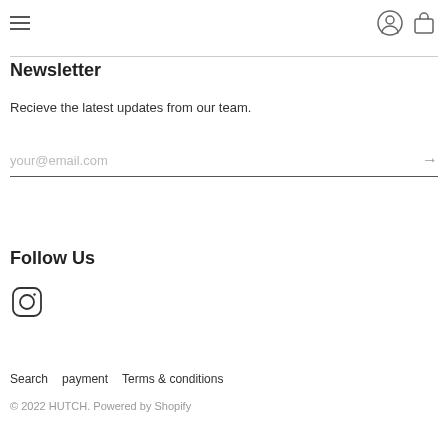≡  [user icon] [bag icon]
Newsletter
Recieve the latest updates from our team.
your@email.com  →
Follow Us
[Figure (other): Instagram logo icon (circle with small camera outline)]
Search   payment   Terms & conditions
© 2022 HUTCH. Powered by Shopify